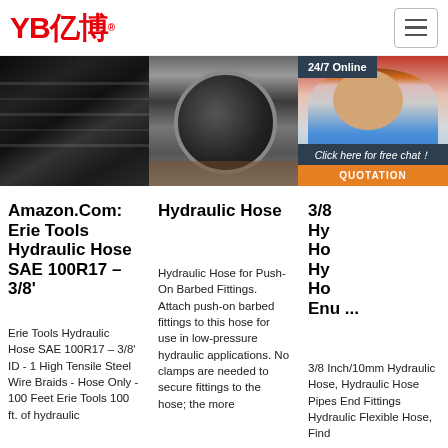[Figure (logo): YB亿博 logo in red]
[Figure (photo): Close-up of black hydraulic hose showing braided steel wire texture]
[Figure (photo): End view of hydraulic hose being held by hand]
[Figure (photo): Customer service woman with headset, 24/7 Online badge, click here for free chat, QUOTATION button]
Amazon.Com: Erie Tools Hydraulic Hose SAE 100R17 – 3/8'
Erie Tools Hydraulic Hose SAE 100R17 – 3/8' ID - 1 High Tensile Steel Wire Braids - Hose Only - 100 Feet Erie Tools 100 ft. of hydraulic
Hydraulic Hose
Hydraulic Hose for Push-On Barbed Fittings. Attach push-on barbed fittings to this hose for use in low-pressure hydraulic applications. No clamps are needed to secure fittings to the hose; the more
3/8 Hy Ho Hy Ho Enu ...
3/8 Inch/10mm Hydraulic Hose, Hydraulic Hose Pipes End Fittings Hydraulic Flexible Hose, Find